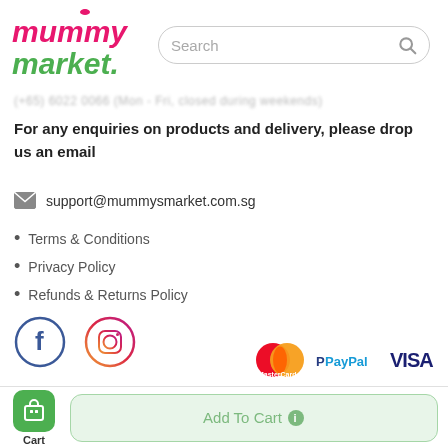[Figure (logo): Mummy's Market logo with pink 'mummy' and green 'market' text in italic bold font]
Search
(+65) 6022 0066 (Mon - Fri, closed during weekends)
For any enquiries on products and delivery, please drop us an email
support@mummysmarket.com.sg
Terms & Conditions
Privacy Policy
Refunds & Returns Policy
[Figure (illustration): Facebook circular logo icon (blue outline with white F)]
[Figure (illustration): Instagram circular logo icon with gradient border]
[Figure (illustration): MasterCard, PayPal, and VISA payment logos]
[Figure (illustration): Cart icon button (green rounded square with shopping bag icon) labeled Cart]
Add To Cart